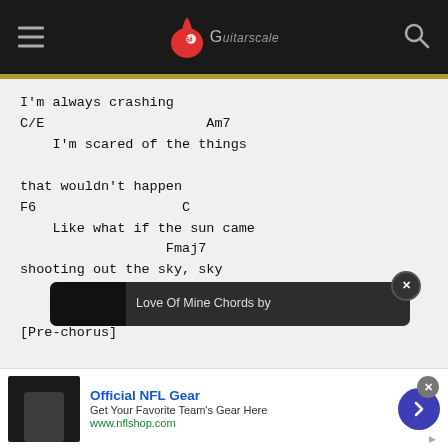[Figure (screenshot): Website navigation bar with hamburger menu icon, Guitarscale logo (red drop icon and 'Guitarscale' text), and search icon on dark background]
I'm always crashing
C/E                       Am7
    I'm scared of the things

that wouldn't happen
F6                    C
    Like what if the sun came
                    Fmaj7
shooting out the sky, sky


[Pre-chorus]

Fmaj7               C
Scared to
[Figure (screenshot): Advertisement overlay: Official NFL Gear - Get Your Favorite Team's Gear Here - www.nflshop.com, with NFL player image and blue arrow button. Also a popup showing 'Love Of Mine Chords by' with close button.]